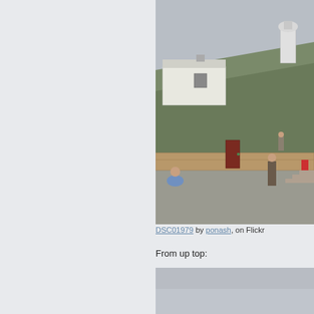[Figure (photo): Outdoor photo of a hillside with a white building, a lighthouse at top, stone wall terrace, and several people on steps and paved area on a grey overcast day]
DSC01979 by ponash, on Flickr
From up top:
[Figure (photo): Partial view of a second photo, mostly grey/mist, cut off at bottom of page]